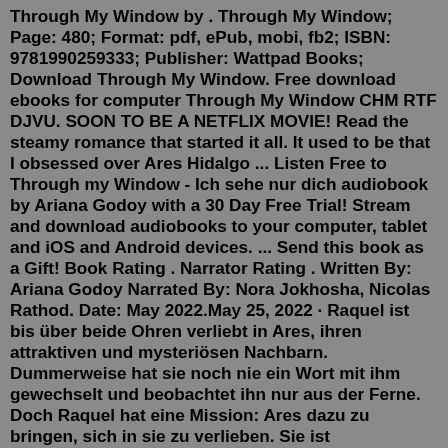Through My Window by . Through My Window; Page: 480; Format: pdf, ePub, mobi, fb2; ISBN: 9781990259333; Publisher: Wattpad Books; Download Through My Window. Free download ebooks for computer Through My Window CHM RTF DJVU. SOON TO BE A NETFLIX MOVIE! Read the steamy romance that started it all. It used to be that I obsessed over Ares Hidalgo ... Listen Free to Through my Window - Ich sehe nur dich audiobook by Ariana Godoy with a 30 Day Free Trial! Stream and download audiobooks to your computer, tablet and iOS and Android devices. ... Send this book as a Gift! Book Rating . Narrator Rating . Written By: Ariana Godoy Narrated By: Nora Jokhosha, Nicolas Rathod. Date: May 2022.May 25, 2022 · Raquel ist bis über beide Ohren verliebt in Ares, ihren attraktiven und mysteriösen Nachbarn. Dummerweise hat sie noch nie ein Wort mit ihm gewechselt und beobachtet ihn nur aus der Ferne. Doch Raquel hat eine Mission: Ares dazu zu bringen, sich in sie zu verlieben. Sie ist